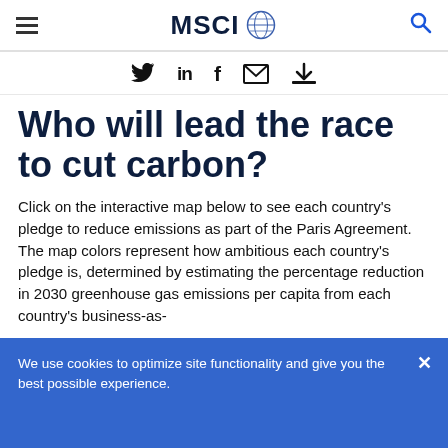MSCI
[Figure (logo): Social sharing icons: Twitter, LinkedIn, Facebook, Email, Download]
Who will lead the race to cut carbon?
Click on the interactive map below to see each country's pledge to reduce emissions as part of the Paris Agreement. The map colors represent how ambitious each country’s pledge is, determined by estimating the percentage reduction in 2030 greenhouse gas emissions per capita from each country’s business-as-
We use cookies to optimize site functionality and give you the best possible experience.